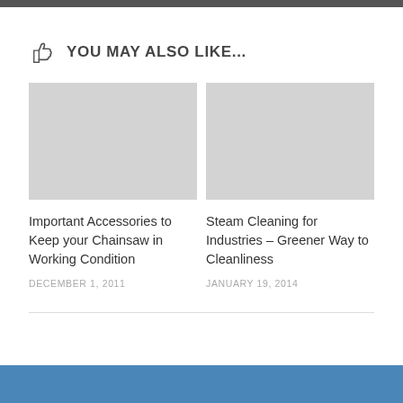YOU MAY ALSO LIKE...
[Figure (photo): Placeholder image for 'Important Accessories to Keep your Chainsaw in Working Condition' article — light gray rectangle]
Important Accessories to Keep your Chainsaw in Working Condition
DECEMBER 1, 2011
[Figure (photo): Placeholder image for 'Steam Cleaning for Industries – Greener Way to Cleanliness' article — light gray rectangle]
Steam Cleaning for Industries – Greener Way to Cleanliness
JANUARY 19, 2014